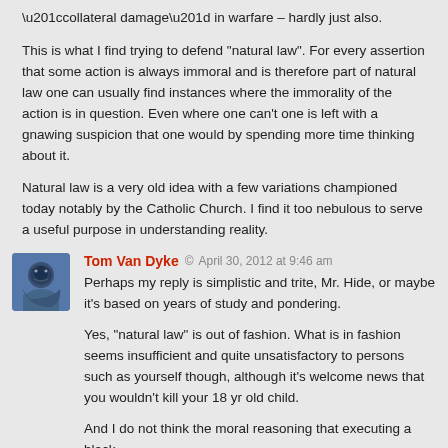“collateral damage” in warfare – hardly just also.
This is what I find trying to defend “natural law”. For every assertion that some action is always immoral and is therefore part of natural law one can usually find instances where the immorality of the action is in question. Even where one can’t one is left with a gnawing suspicion that one would by spending more time thinking about it.
Natural law is a very old idea with a few variations championed today notably by the Catholic Church. I find it too nebulous to serve a useful purpose in understanding reality.
Tom Van Dyke © April 30, 2012 at 9:46 am
Perhaps my reply is simplistic and trite, Mr. Hide, or maybe it’s based on years of study and pondering.
Yes, “natural law” is out of fashion. What is in fashion seems insufficient and quite unsatisfactory to persons such as yourself though, although it’s welcome news that you wouldn’t kill your 18 yr old child.
And I do not think the moral reasoning that executing a black